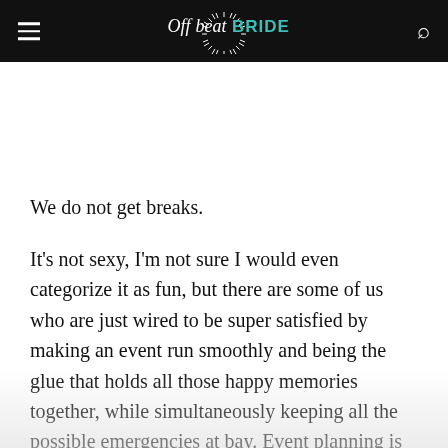Offbeat BRIDE
We do not get breaks.
It's not sexy, I'm not sure I would even categorize it as fun, but there are some of us who are just wired to be super satisfied by making an event run smoothly and being the glue that holds all those happy memories together, while simultaneously keeping all the possible emergencies at bay. Event planning is routinely rated as one of the most stressful careers, right up there in the top